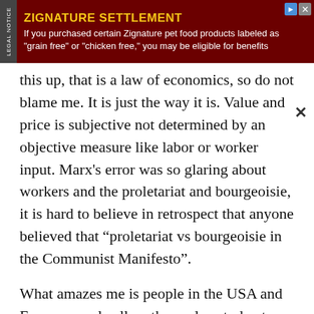[Figure (other): Advertisement banner for Zignature Settlement. Dark red background with yellow heading 'ZIGNATURE SETTLEMENT' and white body text: 'If you purchased certain Zignature pet food products labeled as "grain free" or "chicken free," you may be eligible for benefits'. 'LEGAL NOTICE' in vertical sidebar on left.]
this up, that is a law of economics, so do not blame me. It is just the way it is. Value and price is subjective not determined by an objective measure like labor or worker input. Marx's error was so glaring about workers and the proletariat and bourgeoisie, it is hard to believe in retrospect that anyone believed that “proletariat vs bourgeoisie in the Communist Manifesto”.
What amazes me is people in the USA and Europe people allow themselves today to still be manipulated by this play on emotions of class struggle. “the poor’ Vs. the rich”. In a free society